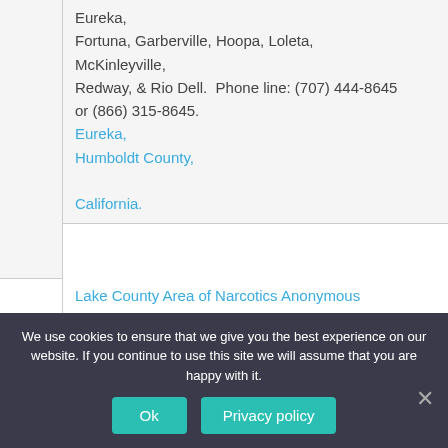Eureka,
Fortuna, Garberville, Hoopa, Loleta, McKinleyville,
Redway, & Rio Dell.  Phone line: (707) 444-8645 or (866) 315-8645.
Eureka,
Humboldt County,

California.
Lake County Area of Narcotics Anonymous – Includes NA meetings in Clearlake, Kelseyville,
We use cookies to ensure that we give you the best experience on our website. If you continue to use this site we will assume that you are happy with it.